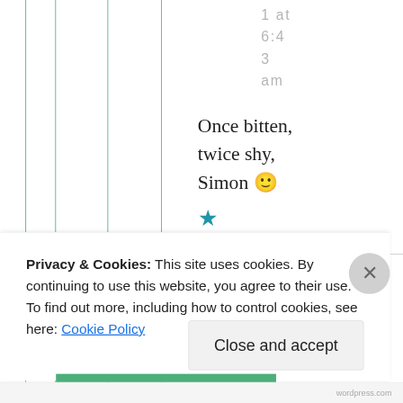1 at 6:43 am
Once bitten, twice shy, Simon 🙂
★ Liked by 1 person
Privacy & Cookies: This site uses cookies. By continuing to use this website, you agree to their use.
To find out more, including how to control cookies, see here: Cookie Policy
Close and accept